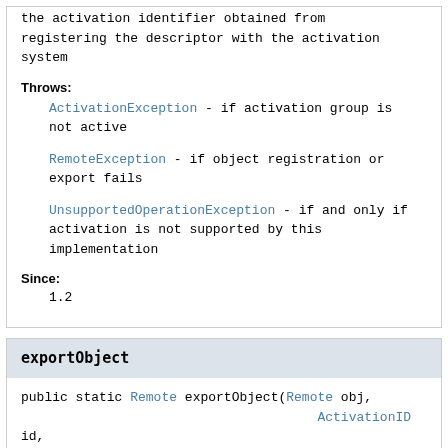the activation identifier obtained from registering the descriptor with the activation system
Throws:
ActivationException - if activation group is not active
RemoteException - if object registration or export fails
UnsupportedOperationException - if and only if activation is not supported by this implementation
Since:
1.2
exportObject
public static Remote exportObject(Remote obj, ActivationID id, int port)